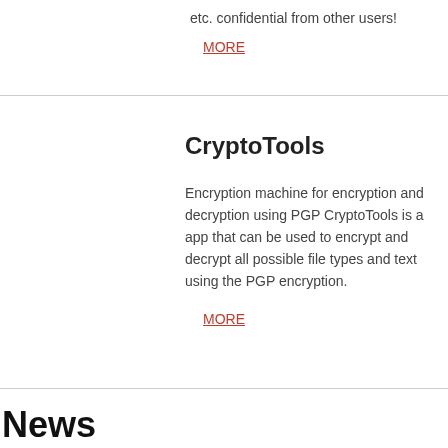etc. confidential from other users!
MORE
CryptoTools
Encryption machine for encryption and decryption using PGP CryptoTools is a app that can be used to encrypt and decrypt all possible file types and text using the PGP encryption.
MORE
News